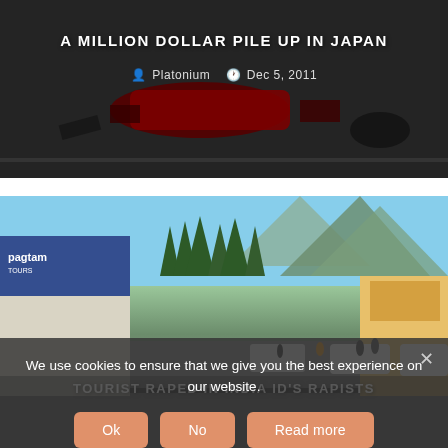[Figure (photo): Photo of a red car in a crash/pile-up on a road in Japan, dark tones]
A MILLION DOLLAR PILE UP IN JAPAN
Platonium  Dec 5, 2011
[Figure (photo): Street scene in India/Himalayan town with shops, mountains, pine trees, people, and vehicles]
TOURIST RAPED IN INDIA ID'S RAPISTS
We use cookies to ensure that we give you the best experience on our website.
Ok  No  Read more
LEAVE A REPLY